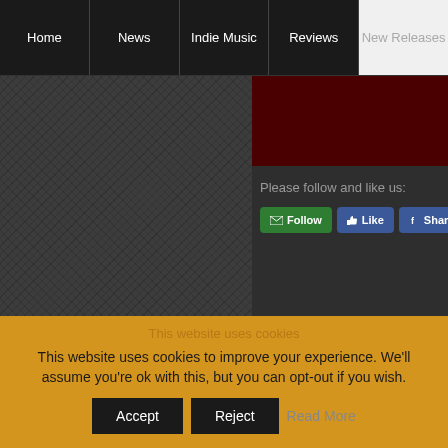Home | News | Indie Music | Reviews | New Releases
[Figure (screenshot): Dark textured left panel with dark background]
[Figure (photo): Dark red/maroon image in upper right panel]
Please follow and like us:
[Figure (screenshot): Social media buttons: Follow (green), Like (blue Facebook), Share (blue Facebook)]
This website uses cookies
This website uses cookies to improve your experience. We'll assume you're ok with this, but you can opt-out if you wish.
Accept | Reject | Read More